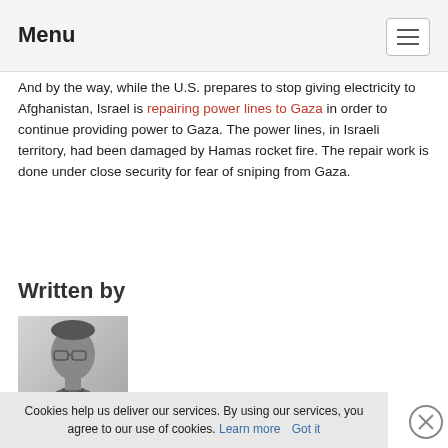Menu
And by the way, while the U.S. prepares to stop giving electricity to Afghanistan, Israel is repairing power lines to Gaza in order to continue providing power to Gaza. The power lines, in Israeli territory, had been damaged by Hamas rocket fire. The repair work is done under close security for fear of sniping from Gaza.
Written by
[Figure (photo): Black and white headshot photo of Prof. Eugene Kontorovich, a man wearing glasses and a suit]
Prof. Eugene Kontorovich
Cookies help us deliver our services. By using our services, you agree to our use of cookies. Learn more  Got it